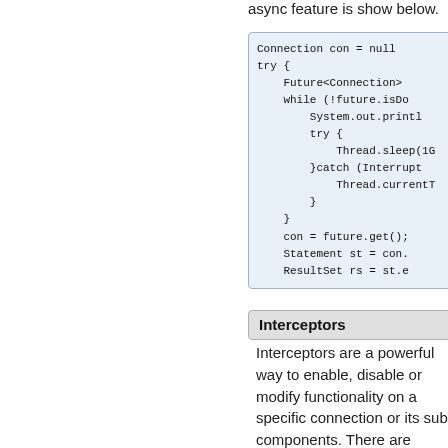async feature is show below.
[Figure (screenshot): Code block showing Java async connection code with Connection, Future, while loop, Thread.sleep, try-catch, con = future.get(), Statement, ResultSet]
Interceptors
Interceptors are a powerful way to enable, disable or modify functionality on a specific connection or its sub components. There are many different use cases for when interceptors are